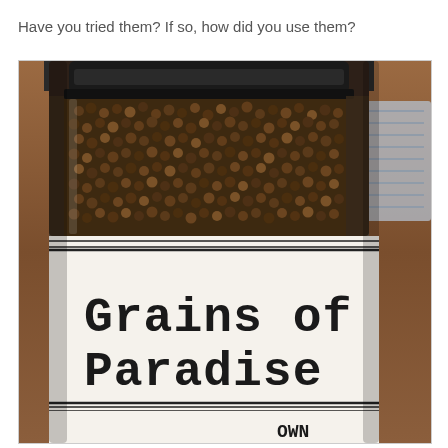Have you tried them? If so, how did you use them?
[Figure (photo): A glass spice grinder jar with a black lid, filled with dark brown seeds. The jar has a white label with double black border lines at top and bottom. In the center of the label, large typewriter-style text reads 'Grains of Paradise'. At the bottom of the label, partially visible text reads 'OWN'. The jar sits on a wooden surface. Background shows a blurred wooden table surface and what appears to be a cloth item on the right side.]